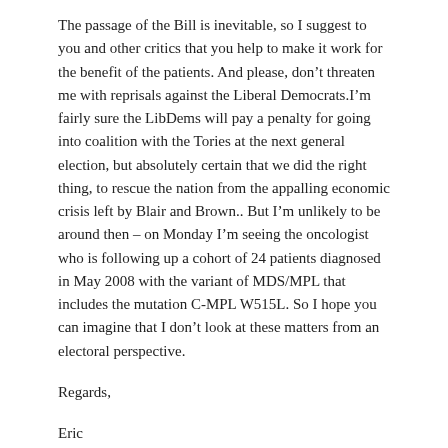The passage of the Bill is inevitable, so I suggest to you and other critics that you help to make it work for the benefit of the patients. And please, don’t threaten me with reprisals against the Liberal Democrats.I’m fairly sure the LibDems will pay a penalty for going into coalition with the Tories at the next general election, but absolutely certain that we did the right thing, to rescue the nation from the appalling economic crisis left by Blair and Brown.. But I’m unlikely to be around then – on Monday I’m seeing the oncologist who is following up a cohort of 24 patients diagnosed in May 2008 with the variant of MDS/MPL that includes the mutation C-MPL W515L. So I hope you can imagine that I don’t look at these matters from an electoral perspective.
Regards,
Eric
On Sat, Mar 17, 2012 at 10:14 AM, Sheila Oliver <sheilaoliver@ntlworld.com> wrote:
Dear Lord Avebury
When my young son died, my daughter, then aged 14, became